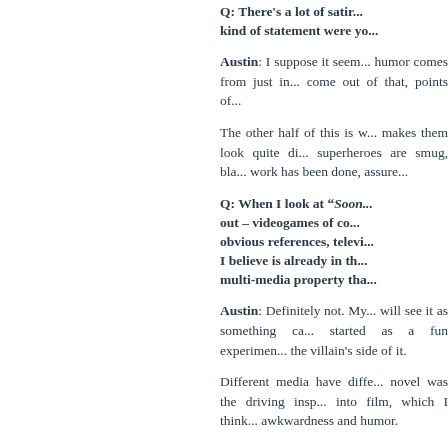Q: There's a lot of satir... kind of statement were yo...
Austin: I suppose it seem... humor comes from just in... come out of that, points of...
The other half of this is w... makes them look quite di... superheroes are smug, bla... work has been done, assure...
Q: When I look at “Soon... out – videogames of co... obvious references, televi... I believe is already in th... multi-media property tha...
Austin: Definitely not. My... will see it as something ca... started as a fun experimen... the villain's side of it.
Different media have diffe... novel was the driving insp... into film, which I think... awkwardness and humor.
Q: So, when this all sta...